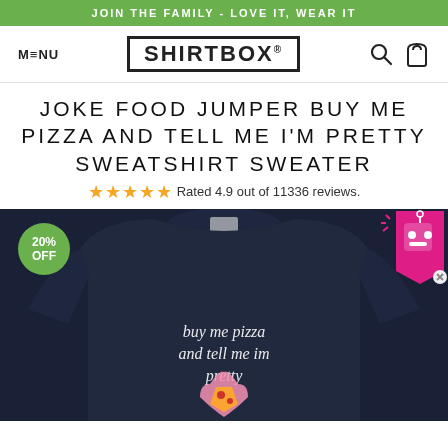JOIN THE FAMILY - LOVE IT, WEAR IT
[Figure (logo): Shirtbox logo with MENU nav and search/cart icons]
JOKE FOOD JUMPER BUY ME PIZZA AND TELL ME I'M PRETTY SWEATSHIRT SWEATER
Rated 4.9 out of 11336 reviews.
[Figure (photo): Navy blue sweatshirt with 'buy me pizza and tell me im pretty' text and pizza/heart graphic, with 20% OFF badge and robot popup icon]